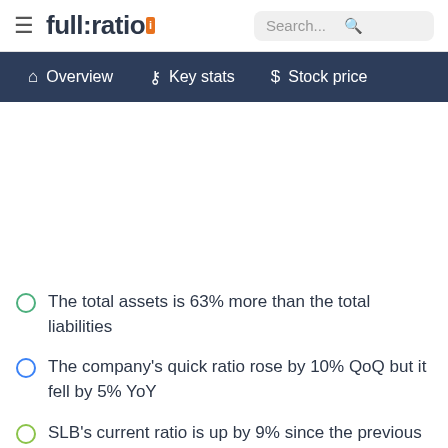full:ratio | Search...
Overview | Key stats | Stock price
The total assets is 63% more than the total liabilities
The company's quick ratio rose by 10% QoQ but it fell by 5% YoY
SLB's current ratio is up by 9% since the previous